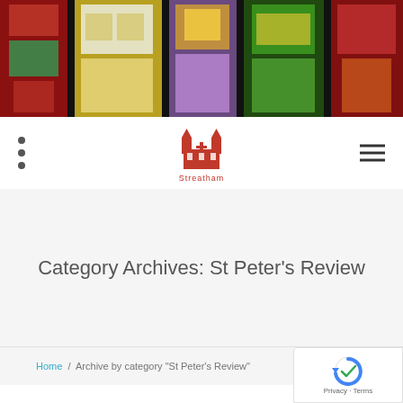[Figure (photo): Stained glass windows of a church, showing colorful panels with religious imagery including crowns, chalices, and floral motifs in red, green, yellow, purple, and blue.]
Navigation bar with three-dot menu, St Peter's Church Streatham logo, and hamburger menu icon
Category Archives: St Peter's Review
Home / Archive by category "St Peter's Review"
[Figure (logo): reCAPTCHA badge with circular arrow icon and Privacy - Terms text]